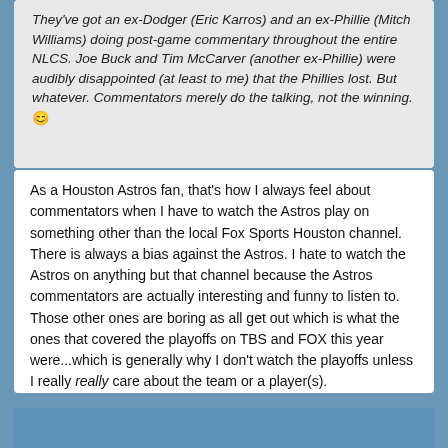They've got an ex-Dodger (Eric Karros) and an ex-Phillie (Mitch Williams) doing post-game commentary throughout the entire NLCS. Joe Buck and Tim McCarver (another ex-Phillie) were audibly disappointed (at least to me) that the Phillies lost. But whatever. Commentators merely do the talking, not the winning. 😊
As a Houston Astros fan, that's how I always feel about commentators when I have to watch the Astros play on something other than the local Fox Sports Houston channel. There is always a bias against the Astros. I hate to watch the Astros on anything but that channel because the Astros commentators are actually interesting and funny to listen to. Those other ones are boring as all get out which is what the ones that covered the playoffs on TBS and FOX this year were...which is generally why I don't watch the playoffs unless I really really care about the team or a player(s).
IMO always implied.